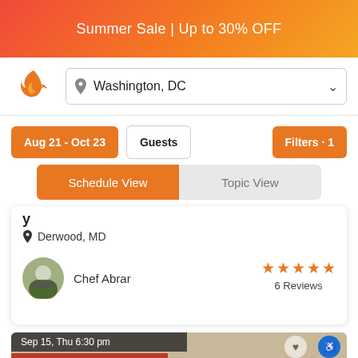Summer Sale | Up to 30% OFF
[Figure (logo): Chef/cooking app logo - orange flame/whisk swirl]
Washington, DC
Aug 21 - Oct 23
Guests
Filters · 1
Schedule View
Topic View
Derwood, MD
Chef Abrar
6 Reviews
Sep 15, Thu 6:30 pm
New class